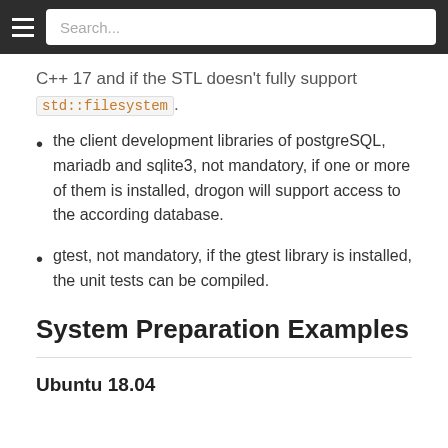Search...
C++ 17 and if the STL doesn't fully support std::filesystem.
the client development libraries of postgreSQL, mariadb and sqlite3, not mandatory, if one or more of them is installed, drogon will support access to the according database.
gtest, not mandatory, if the gtest library is installed, the unit tests can be compiled.
System Preparation Examples
Ubuntu 18.04